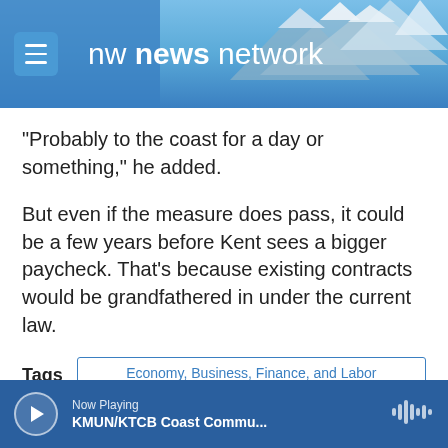[Figure (screenshot): NW News Network website header with mountain background and hamburger menu icon]
“Probably to the coast for a day or something,” he added.
But even if the measure does pass, it could be a few years before Kent sees a bigger paycheck. That’s because existing contracts would be grandfathered in under the current law.
Tags: Economy, Business, Finance, and Labor
CapitolCurrents
disabilities
minimum wage
sara gelser
Now Playing KMUN/KTCB Coast Commu...